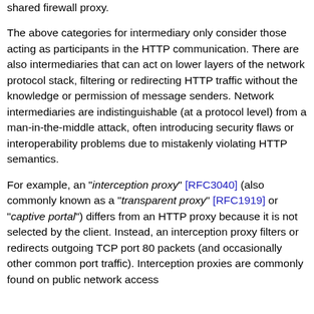shared firewall proxy.
The above categories for intermediary only consider those acting as participants in the HTTP communication. There are also intermediaries that can act on lower layers of the network protocol stack, filtering or redirecting HTTP traffic without the knowledge or permission of message senders. Network intermediaries are indistinguishable (at a protocol level) from a man-in-the-middle attack, often introducing security flaws or interoperability problems due to mistakenly violating HTTP semantics.
For example, an "interception proxy" [RFC3040] (also commonly known as a "transparent proxy" [RFC1919] or "captive portal") differs from an HTTP proxy because it is not selected by the client. Instead, an interception proxy filters or redirects outgoing TCP port 80 packets (and occasionally other common port traffic). Interception proxies are commonly found on public network access